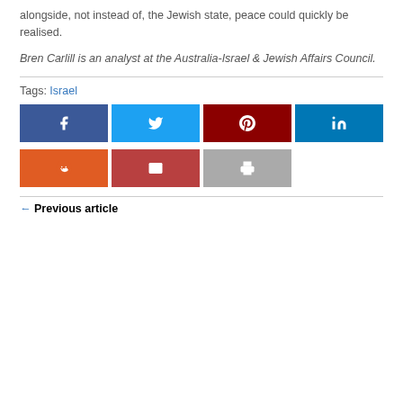alongside, not instead of, the Jewish state, peace could quickly be realised.
Bren Carlill is an analyst at the Australia-Israel & Jewish Affairs Council.
Tags: Israel
[Figure (infographic): Social share buttons: Facebook (dark blue), Twitter (light blue), Pinterest (dark red), LinkedIn (dark blue), Reddit (orange), Email (dark red), Print (gray)]
← Previous article